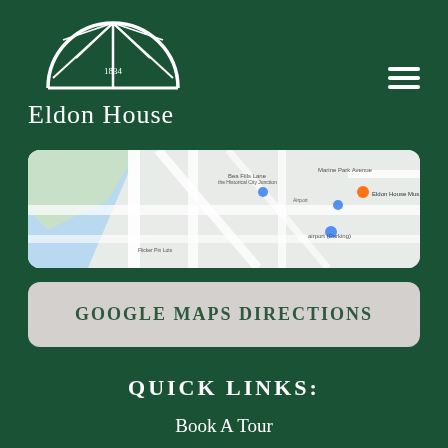[Figure (logo): Eldon House arch/fanlight logo with '1834' text inside]
Eldon House
[Figure (map): Google Maps screenshot showing street map near Eldon House location]
GOOGLE MAPS DIRECTIONS
QUICK LINKS:
Book A Tour